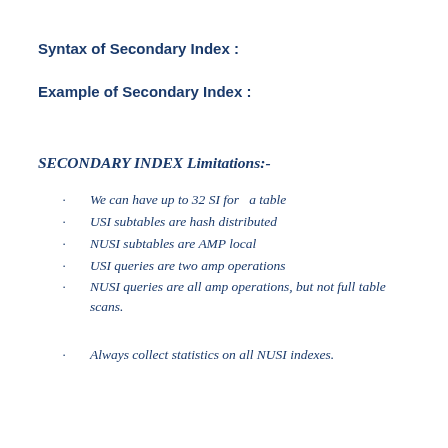Syntax of Secondary Index :
Example of Secondary Index :
SECONDARY INDEX Limitations:-
We can have up to 32 SI for  a table
USI subtables are hash distributed
NUSI subtables are AMP local
USI queries are two amp operations
NUSI queries are all amp operations, but not full table scans.
Always collect statistics on all NUSI indexes.